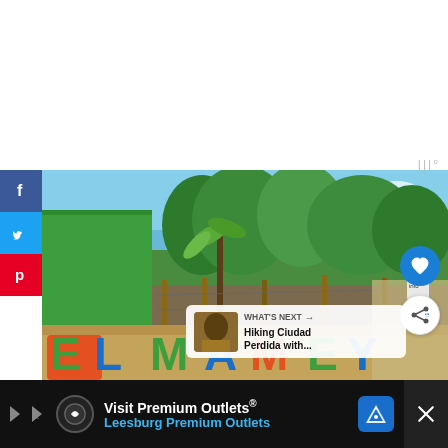[Figure (photo): Outdoor photo showing a green painted wall, tropical trees and vegetation with blue sky, and colorful 'EL MAMEY' sign letters in green, blue, and orange in the foreground. Social media share buttons (Facebook, Twitter, Pinterest) on the left. Heart/like and share floating buttons on the right. A 'What's Next' overlay showing a thumbnail and text 'Hiking Ciudad Perdida with...' in the lower right.]
[Figure (infographic): Advertisement banner at bottom: 'Visit Premium Outlets® Leesburg Premium Outlets' with a navigation icon, play button, and close button on dark background.]